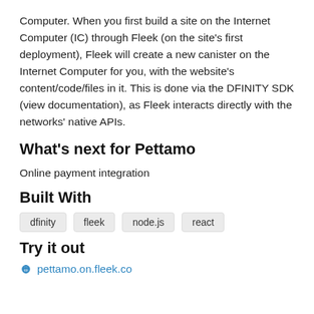Computer. When you first build a site on the Internet Computer (IC) through Fleek (on the site's first deployment), Fleek will create a new canister on the Internet Computer for you, with the website's content/code/files in it. This is done via the DFINITY SDK (view documentation), as Fleek interacts directly with the networks' native APIs.
What's next for Pettamo
Online payment integration
Built With
dfinity  fleek  node.js  react
Try it out
pettamo.on.fleek.co